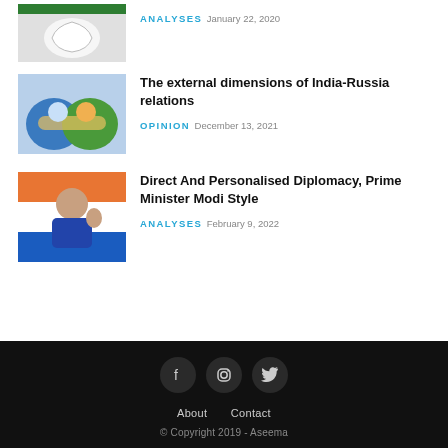[Figure (photo): Partial thumbnail image at top (Congress party logo/flag)]
ANALYSES  January 22, 2020
[Figure (photo): Handshake illustration with Indian and Russian flag colors]
The external dimensions of India-Russia relations
OPINION  December 13, 2021
[Figure (photo): Photo of Prime Minister Modi gesturing, Indian flag in background]
Direct And Personalised Diplomacy, Prime Minister Modi Style
ANALYSES  February 9, 2022
About  Contact
© Copyright 2019 - Aseema